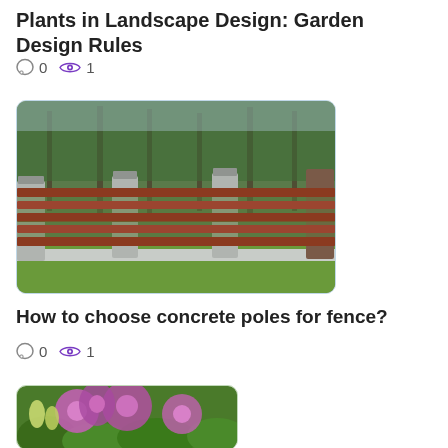Plants in Landscape Design: Garden Design Rules
0  1
[Figure (photo): A wooden horizontal-slat fence with concrete posts, green lawn in front, trees in background.]
How to choose concrete poles for fence?
0  1
[Figure (photo): Purple flowers with green foliage, close-up garden photo.]